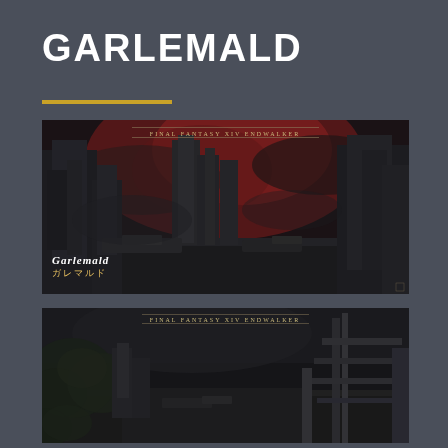GARLEMALD
[Figure (screenshot): Dark ruined cityscape of Garlemald from Final Fantasy XIV Endwalker, showing destroyed buildings and red sky. Text overlay reads 'FINAL FANTASY XIV ENDWALKER' at the top center, 'Garlemald' and Japanese text 'ガレマルド' in the lower left corner.]
[Figure (screenshot): Second dark ruined scene from Final Fantasy XIV Endwalker showing overgrown ruins with a metallic structure on the right. Text overlay reads 'FINAL FANTASY XIV ENDWALKER' at the top center.]